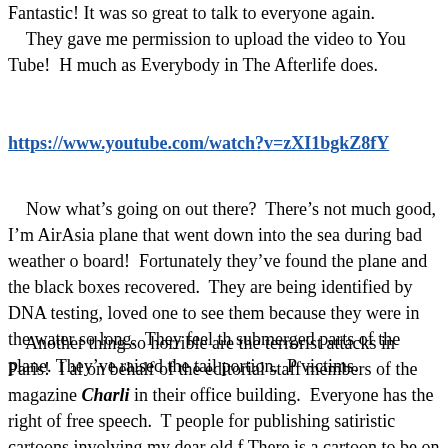Fantastic!  It was so great to talk to everyone again.  They gave me permission to upload the video to You Tube!  H much as Everybody in The Afterlife does.
https://www.youtube.com/watch?v=zXI1bgkZ8fY
Now what’s going on out there?  There’s not much good, I’m AirAsia plane that went down into the sea during bad weather o board!  Fortunately they’ve found the plane and the black boxes recovered.  They are being identified by DNA testing, loved one to see them because they were in the water so long.  They feel th submerged parts of the plane. They’ve raised the tail portion.  P victims.
Another thing so horrible are the terrorist attacks in Paris!  I al on behalf of the editorial staff members of the magazine Charlie in their office building.  Everyone has the right of free speech.  T people for publishing satiristic cartoons involving my dear old f There is a cartoon to be on the next cover of Charlie Hebdo fea holding a sign saying “Je Suis Charlie,” with the tag line “All I